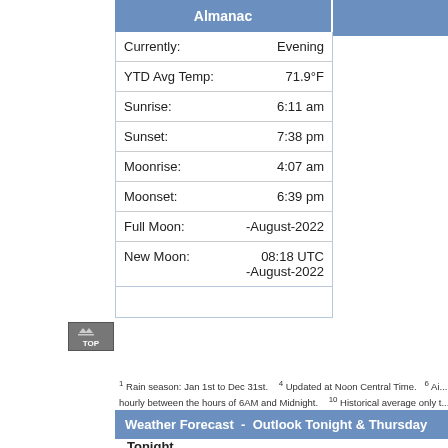|  | Almanac |  |
| --- | --- | --- |
| Currently: | Evening |
| YTD Avg Temp: | 71.9°F |
| Sunrise: | 6:11 am |
| Sunset: | 7:38 pm |
| Moonrise: | 4:07 am |
| Moonset: | 6:39 pm |
| Full Moon: | -August-2022 |
| New Moon: | 08:18 UTC
-August-2022 |
1 Rain season: Jan 1st to Dec 31st.   4 Updated at Noon Central Time.   6 Ai... hourly between the hours of 6AM and Midnight.   10 Historical average only t... average rain this season to day 24 of August for this station since 2012.
Weather Forecast  -  Outlook Tonight & Thursday
Tonight
[Figure (photo): Nighttime partly cloudy sky photo showing moon behind clouds]
NWS forecast: Partly cloudy, with a low around 62. South wind 0 to 5 mph.
Local station forecast: Increasing clouds with...